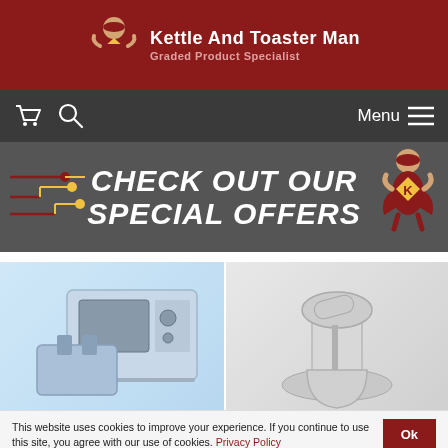[Figure (logo): Kettle And Toaster Man logo with superhero mascot character in red and yellow costume with K emblem]
Kettle And Toaster Man
Graded Product Specialist
[Figure (infographic): Navigation bar with shopping cart icon, search icon, and Menu hamburger icon on dark gray background]
[Figure (infographic): Dark gray banner with bold italic white text CHECK OUT OUR SPECIAL OFFERS, with circuit/connector decorative lines on left and superhero mascot on right]
[Figure (photo): Blue-tinted retro microwave oven and toaster kitchen appliances on light blue background]
[Figure (photo): Silver stand mixer with whisk attachment and bowl on gray background]
This website uses cookies to improve your experience. If you continue to use this site, you agree with our use of cookies. Privacy Policy